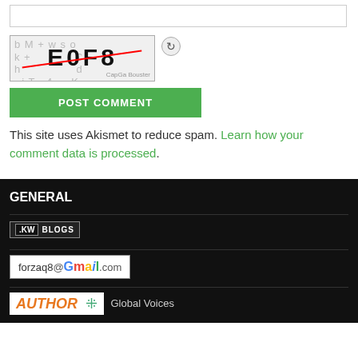[Figure (screenshot): Comment input text box (empty, white, bordered)]
[Figure (screenshot): CAPTCHA image showing 'E0F8' with strikethrough red line and scattered letter background, CapGa Booster watermark, with refresh icon]
[Figure (screenshot): Green POST COMMENT button]
This site uses Akismet to reduce spam. Learn how your comment data is processed.
GENERAL
[Figure (logo): .KW BLOGS badge/logo]
[Figure (logo): forzaq8@Gmail.com email badge]
[Figure (logo): AUTHOR badge and Global Voices logo partial]